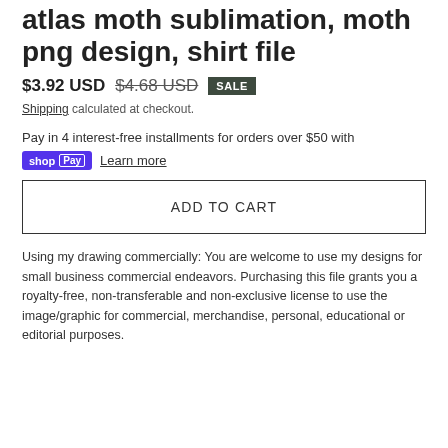atlas moth sublimation, moth png design, shirt file
$3.92 USD  $4.68 USD  SALE
Shipping calculated at checkout.
Pay in 4 interest-free installments for orders over $50 with
shop Pay  Learn more
ADD TO CART
Using my drawing commercially: You are welcome to use my designs for small business commercial endeavors. Purchasing this file grants you a royalty-free, non-transferable and non-exclusive license to use the image/graphic for commercial, merchandise, personal, educational or editorial purposes.